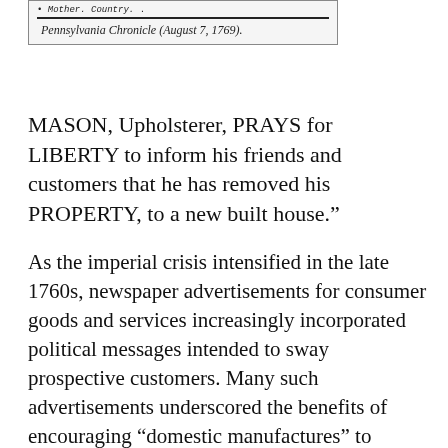[Figure (other): Top portion of a scanned historical newspaper advertisement showing handwritten/printed text in old style, with a horizontal rule beneath, partially cropped at top.]
Pennsylvania Chronicle (August 7, 1769).
MASON, Upholsterer, PRAYS for LIBERTY to inform his friends and customers that he has removed his PROPERTY, to a new built house.”
As the imperial crisis intensified in the late 1760s, newspaper advertisements for consumer goods and services increasingly incorporated political messages intended to sway prospective customers. Many such advertisements underscored the benefits of encouraging “domestic manufactures” to achieve greater self-sufficiency and the virtues of purchasing those locally produced goods. These advertisements often connected their